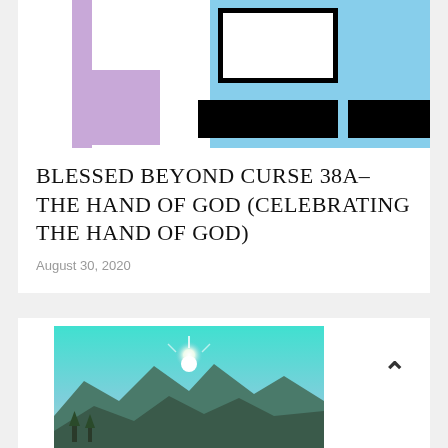[Figure (illustration): Abstract thumbnail graphic with purple vertical bar, black outlined rectangle, light blue rectangle block, and black horizontal bars]
BLESSED BEYOND CURSE 38A- THE HAND OF GOD (CELEBRATING THE HAND OF GOD)
August 30, 2020
[Figure (photo): Landscape photo showing mountains with bright sunburst and teal/turquoise sky]